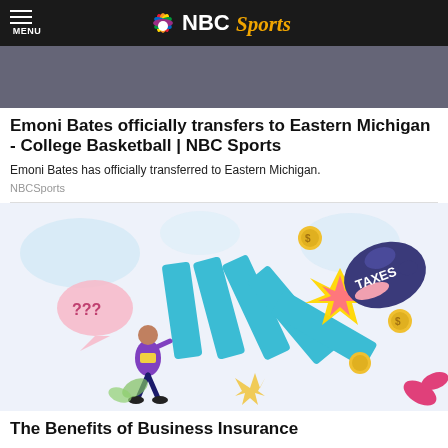MENU | NBC Sports
[Figure (photo): Partial photo of a person, cropped at top of page below nav bar]
Emoni Bates officially transfers to Eastern Michigan - College Basketball | NBC Sports
Emoni Bates has officially transferred to Eastern Michigan.
NBCSports
[Figure (illustration): Illustration of a person pushing dominoes labeled with a boxing glove saying TAXES, with question marks, coins, and decorative plants]
The Benefits of Business Insurance